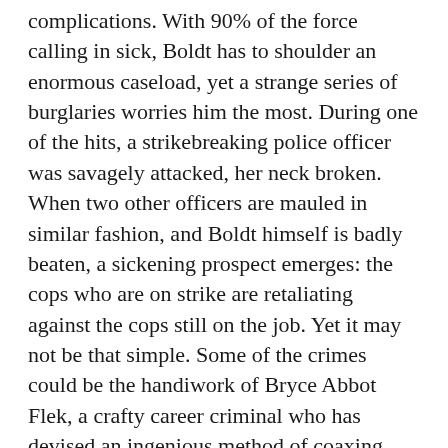complications. With 90% of the force calling in sick, Boldt has to shoulder an enormous caseload, yet a strange series of burglaries worries him the most. During one of the hits, a strikebreaking police officer was savagely attacked, her neck broken. When two other officers are mauled in similar fashion, and Boldt himself is badly beaten, a sickening prospect emerges: the cops who are on strike are retaliating against the cops still on the job. Yet it may not be that simple. Some of the crimes could be the handiwork of Bryce Abbot Flek, a crafty career criminal who has devised an ingenious method of coaxing people out of the homes he wants to burglarize. Along the way, Flek has also developed a searing hatred for Boldt, whom [REDACTED] s brothe [REDACTED] a